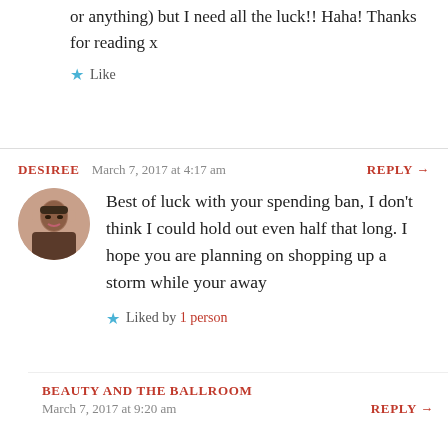or anything) but I need all the luck!! Haha! Thanks for reading x
Like
DESIREE   March 7, 2017 at 4:17 am   REPLY →
Best of luck with your spending ban, I don't think I could hold out even half that long. I hope you are planning on shopping up a storm while your away
Liked by 1 person
BEAUTY AND THE BALLROOM
March 7, 2017 at 9:20 am   REPLY →